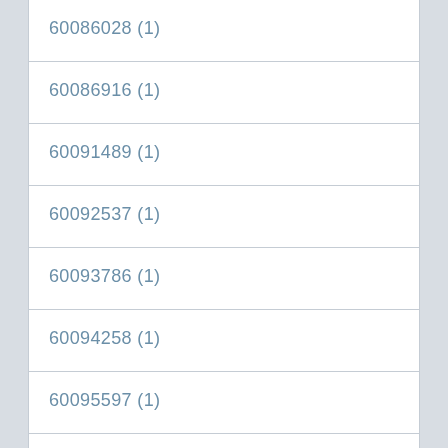60086028 (1)
60086916 (1)
60091489 (1)
60092537 (1)
60093786 (1)
60094258 (1)
60095597 (1)
60096592 (1)
60097317 (1)